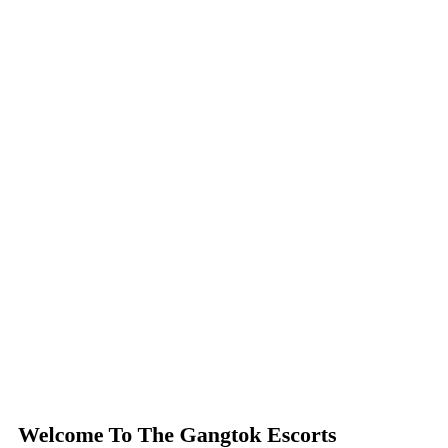Welcome To The Gangtok Escorts